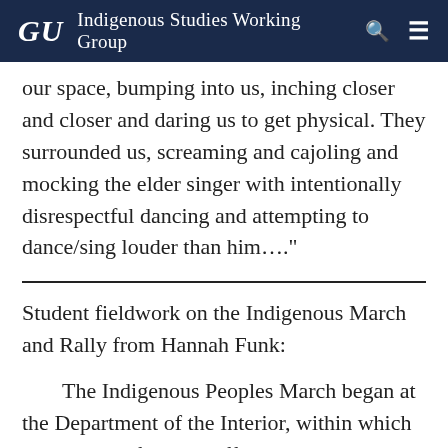GU  Indigenous Studies Working Group
our space, bumping into us, inching closer and closer and daring us to get physical. They surrounded us, screaming and cajoling and mocking the elder singer with intentionally disrespectful dancing and attempting to dance/sing louder than him...."
Student fieldwork on the Indigenous March and Rally from Hannah Funk:
The Indigenous Peoples March began at the Department of the Interior, within which the Bureau of Indian Affairs is housed. This was a deeply intentional choice on the part of the March